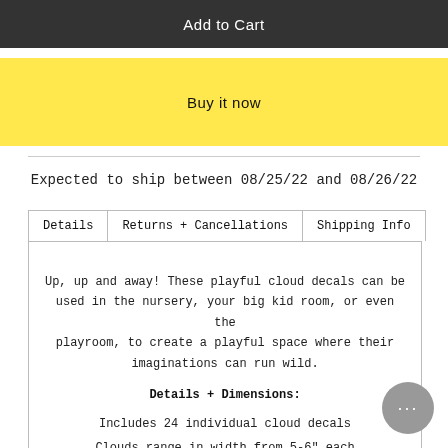Add to Cart
Buy it now
Expected to ship between 08/25/22 and 08/26/22
| Details | Returns + Cancellations | Shipping Info |
| --- | --- | --- |
Up, up and away! These playful cloud decals can be used in the nursery, your big kid room, or even the playroom, to create a playful space where their imaginations can run wild.
Details + Dimensions:
Includes 24 individual cloud decals
Clouds range in width from 5-6" each
Printed on fabric, not vinyl
Archival, non-toxic ink